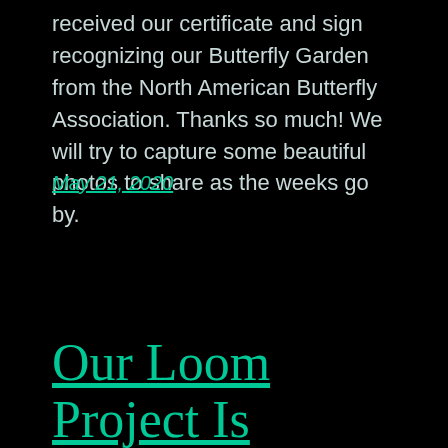received our certificate and sign recognizing our Butterfly Garden from the North American Butterfly Association. Thanks so much! We will try to capture some beautiful photos to share as the weeks go by.
May 21, 2020
Our Loom Project Is